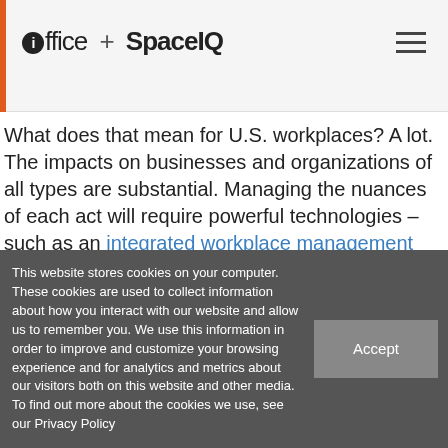ioffice + SpaceIQ
What does that mean for U.S. workplaces? A lot. The impacts on businesses and organizations of all types are substantial. Managing the nuances of each act will require powerful technologies – such as an integrated workplace management system (IWMS) – to meet the stringent requirements geared toward sustainability.
What is the CLEAN Future
This website stores cookies on your computer. These cookies are used to collect information about how you interact with our website and allow us to remember you. We use this information in order to improve and customize your browsing experience and for analytics and metrics about our visitors both on this website and other media. To find out more about the cookies we use, see our Privacy Policy